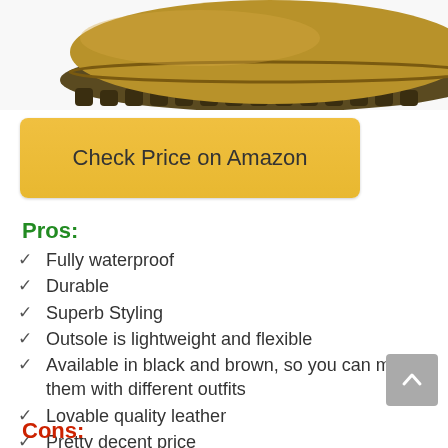[Figure (photo): Bottom portion of a brown waterproof boot showing the sole and lower upper]
Check Price on Amazon
Pros:
Fully waterproof
Durable
Superb Styling
Outsole is lightweight and flexible
Available in black and brown, so you can match them with different outfits
Lovable quality leather
Pretty decent price
Cons: